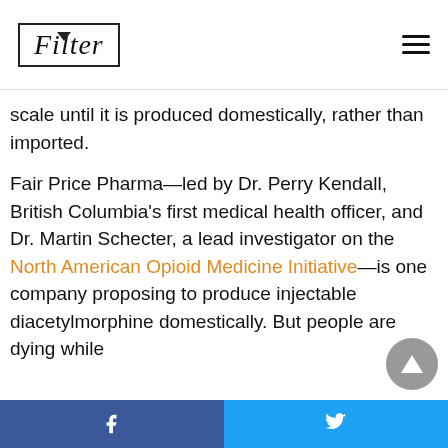Filter
scale until it is produced domestically, rather than imported.
Fair Price Pharma—led by Dr. Perry Kendall, British Columbia's first medical health officer, and Dr. Martin Schecter, a lead investigator on the North American Opioid Medicine Initiative—is one company proposing to produce injectable diacetylmorphine domestically. But people are dying while
Facebook share | Twitter share